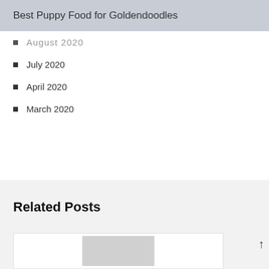Best Puppy Food for Goldendoodles
August 2020 (truncated/partially visible)
July 2020
April 2020
March 2020
Related Posts
[Figure (photo): Partially visible related post card with a grey image placeholder at the bottom of the page]